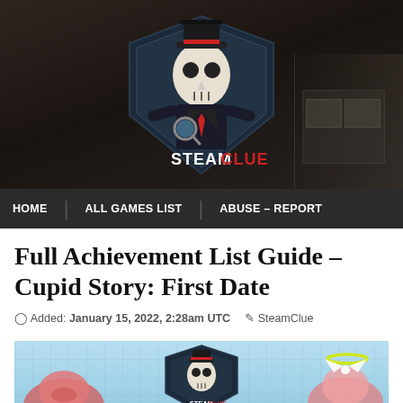[Figure (logo): SteamClue website header banner with skull detective logo wearing a hat and holding a magnifying glass, dark moody room background, STEAMCLUE logo text in white and red]
HOME   ALL GAMES LIST   ABUSE – REPORT
Full Achievement List Guide – Cupid Story: First Date
Added: January 15, 2022, 2:28am UTC   SteamClue
[Figure (illustration): Featured image with light blue grid background showing SteamClue skull detective logo in center, cartoon characters on left and right sides]